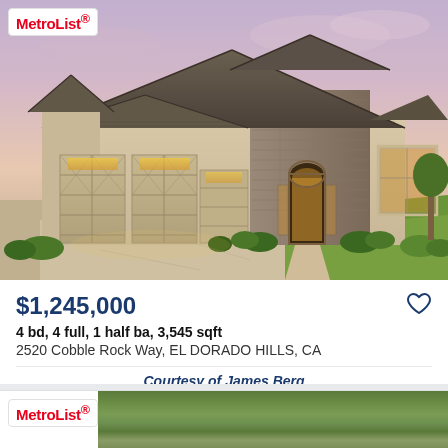[Figure (photo): Exterior photo of a large single-story home with stone accent facade, three-car garage, tile roof, illuminated entry arch, and green lawn at dusk with purple-pink sky]
MetroList®
$1,245,000
4 bd, 4 full, 1 half ba, 3,545 sqft
2520 Cobble Rock Way, EL DORADO HILLS, CA
Courtesy of James Berg
[Figure (photo): Aerial or elevated exterior photo of a home surrounded by mature trees, partial second listing card visible at bottom of page]
MetroList®